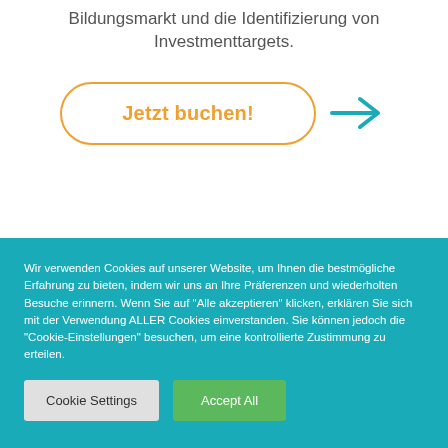Bildungsmarkt und die Identifizierung von Investmenttargets.
[Figure (other): Button labeled 'Jetzt buchen!' with orange rounded border, and a teal arrow pointing right beside it]
Wir verwenden Cookies auf unserer Website, um Ihnen die bestmögliche Erfahrung zu bieten, indem wir uns an Ihre Präferenzen und wiederholten Besuche erinnern. Wenn Sie auf "Alle akzeptieren" klicken, erklären Sie sich mit der Verwendung ALLER Cookies einverstanden. Sie können jedoch die "Cookie-Einstellungen" besuchen, um eine kontrollierte Zustimmung zu erteilen.
Cookie Settings
Accept All